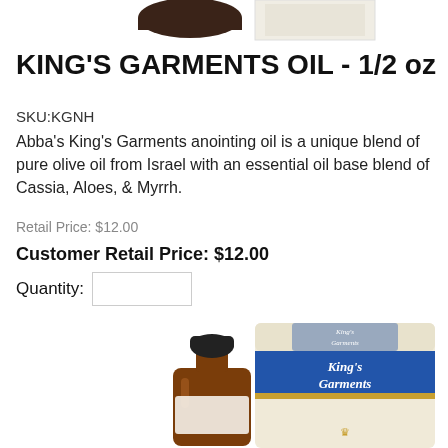[Figure (photo): Partial top view of product packaging — brown jar and white box partially visible at top of page]
KING'S GARMENTS OIL - 1/2 oz
SKU:KGNH
Abba's King's Garments anointing oil is a unique blend of pure olive oil from Israel with an essential oil base blend of Cassia, Aloes, & Myrrh.
Retail Price: $12.00
Customer Retail Price: $12.00
Quantity:
[Figure (photo): Product photo showing amber glass bottle with black cap next to cream-colored King's Garments box with blue band and gold crown logo]